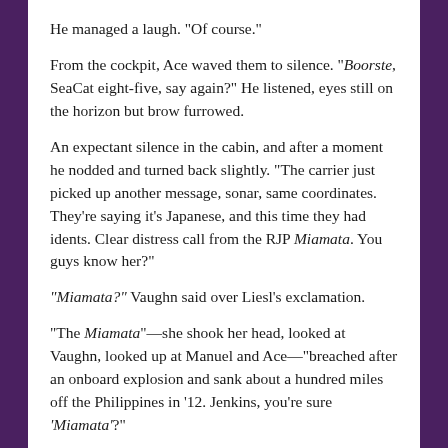He managed a laugh. "Of course."
From the cockpit, Ace waved them to silence. "Boorste, SeaCat eight-five, say again?" He listened, eyes still on the horizon but brow furrowed.
An expectant silence in the cabin, and after a moment he nodded and turned back slightly. "The carrier just picked up another message, sonar, same coordinates. They're saying it's Japanese, and this time they had idents. Clear distress call from the RJP Miamata. You guys know her?"
"Miamata?" Vaughn said over Liesl's exclamation.
"The Miamata"—she shook her head, looked at Vaughn, looked up at Manuel and Ace—"breached after an onboard explosion and sank about a hundred miles off the Philippines in '12. Jenkins, you're sure 'Miamata'?"
"Yeah, that's what they said."
"The Miamata was a Noki class destroyer," Vaughn said. He and Liesl exchanged glances; she was still shaking her head. "Crew of about a thousand."